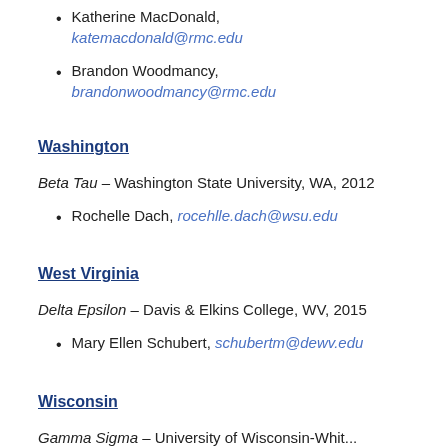Katherine MacDonald, katemacdonald@rmc.edu
Brandon Woodmancy, brandonwoodmancy@rmc.edu
Washington
Beta Tau – Washington State University, WA, 2012
Rochelle Dach, rocehlle.dach@wsu.edu
West Virginia
Delta Epsilon – Davis & Elkins College, WV, 2015
Mary Ellen Schubert, schubertm@dewv.edu
Wisconsin
Gamma Sigma – University of Wisconsin-Whitewater...